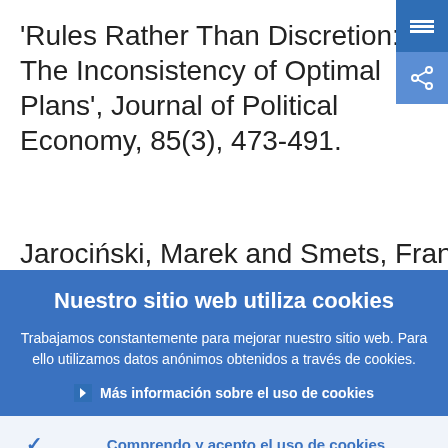'Rules Rather Than Discretion: The Inconsistency of Optimal Plans', Journal of Political Economy, 85(3), 473-491.
Jarociński, Marek and Smets, Frank (2008)
Nuestro sitio web utiliza cookies
Trabajamos constantemente para mejorar nuestro sitio web. Para ello utilizamos datos anónimos obtenidos a través de cookies.
Más información sobre el uso de cookies
Comprendo y acepto el uso de cookies
No acepto el uso de cookies